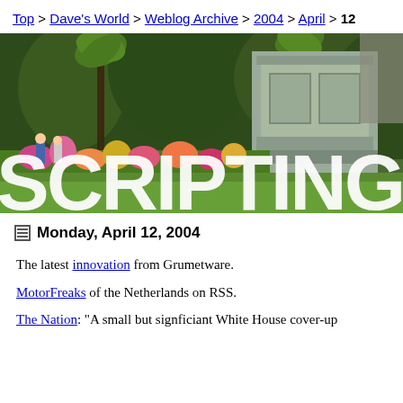Top > Dave's World > Weblog Archive > 2004 > April > 12
[Figure (photo): Outdoor park scene with lush green trees, flowering plants, a stone monument/statue base, and people walking. Large white 'SCRIPTING' text overlaid at the bottom of the image.]
Monday, April 12, 2004
The latest innovation from Grumetware.
MotorFreaks of the Netherlands on RSS.
The Nation: "A small but signficiant White House cover-up